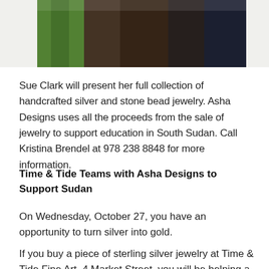[Figure (photo): Partial photo of people standing outdoors, showing a green shirt on the left, dark brown clothing in the middle, and dark blue jeans on the right, cropped at the top of the page.]
Sue Clark will present her full collection of handcrafted silver and stone bead jewelry. Asha Designs uses all the proceeds from the sale of jewelry to support education in South Sudan. Call Kristina Brendel at 978 238 8848 for more information.
Time & Tide Teams with Asha Designs to Support Sudan
On Wednesday, October 27, you have an opportunity to turn silver into gold.
If you buy a piece of sterling silver jewelry at Time & Tide Fine Art, 4 Market Street, you will be helping a